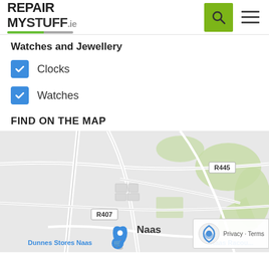REPAIR MYSTUFF.ie
Watches and Jewellery
Clocks
Watches
FIND ON THE MAP
[Figure (map): Google Maps view showing Naas area, Ireland. Roads including R445 and R407 visible. Landmarks: Naas, Dunnes Stores Naas, Naas Racecourse shown. Privacy/Terms badge and reCAPTCHA icon in bottom right.]